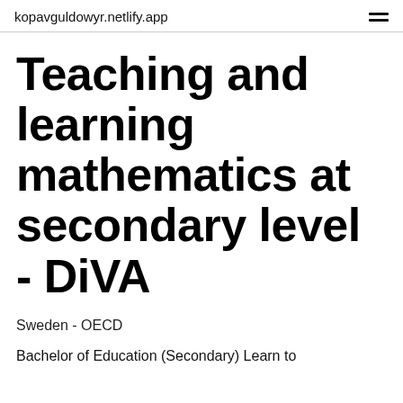kopavguldowyr.netlify.app
Teaching and learning mathematics at secondary level - DiVA
Sweden - OECD
Bachelor of Education (Secondary) Learn to